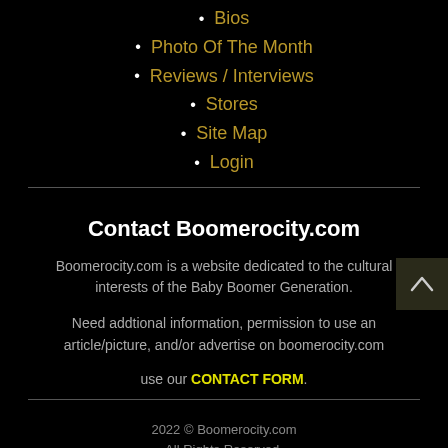Bios
Photo Of The Month
Reviews / Interviews
Stores
Site Map
Login
Contact Boomerocity.com
Boomerocity.com is a website dedicated to the cultural interests of the Baby Boomer Generation.
Need addtional information, permission to use an article/picture, and/or advertise on boomerocity.com use our CONTACT FORM.
2022 © Boomerocity.com
All Rights Reserved.